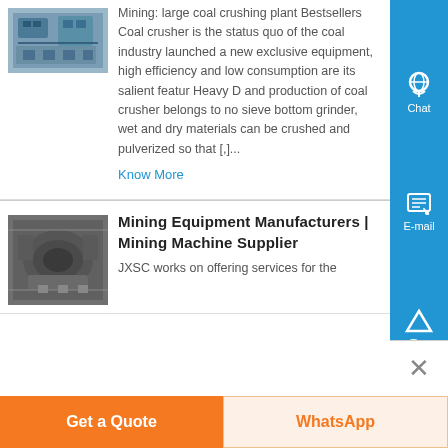[Figure (photo): Photo of mining/industrial machinery, appears to be engine or mechanical components with blue-green tones]
Mining: large coal crushing plant Bestsellers Coal crusher is the status quo of the coal industry launched a new exclusive equipment, high efficiency and low consumption are its salient featur Heavy D and production of coal crusher belongs to no sieve bottom grinder, wet and dry materials can be crushed and pulverized so that [,]...
Know More
[Figure (photo): Photo of large mining equipment or crusher machinery, industrial setting]
Mining Equipment Manufacturers | Mining Machine Supplier
JXSC works on offering services for the
Get a Quote
WhatsApp